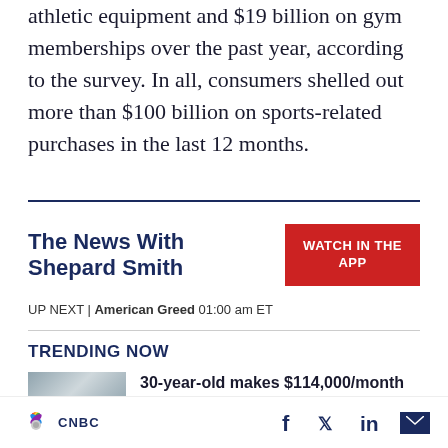athletic equipment and $19 billion on gym memberships over the past year, according to the survey. In all, consumers shelled out more than $100 billion on sports-related purchases in the last 12 months.
The News With Shepard Smith
[Figure (other): Red button with text WATCH IN THE APP]
UP NEXT | American Greed 01:00 am ET
TRENDING NOW
[Figure (photo): Thumbnail image of a person in front of a building]
30-year-old makes $114,000/month in passive income: 4 businesses you can...
CNBC logo with peacock icon, social media icons: Facebook, Twitter, LinkedIn, Email